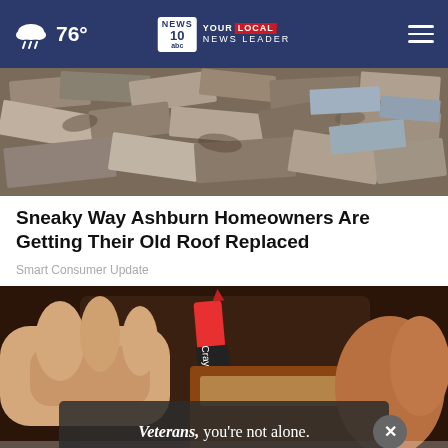76° NEWS 10 abc YOUR LOCAL NEWS LEADER
[Figure (photo): Aerial or close-up view of broken/old roof shingles scattered on a surface]
Sneaky Way Ashburn Homeowners Are Getting Their Old Roof Replaced
Smart Consumer Update
[Figure (photo): Close-up of hands holding a wallet open with a Crayola crayon inside, hinting at a money-saving trick]
[Figure (photo): Ad overlay: Veterans, you're not alone. with a person sitting in the background]